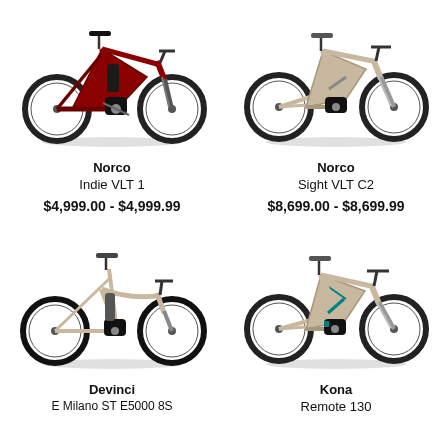[Figure (photo): Red Norco Indie VLT 1 electric bike, hardtail style, front suspension, motor at crank]
[Figure (photo): Tan/beige Norco Sight VLT C2 electric full-suspension mountain bike]
Norco
Indie VLT 1
$4,999.00 - $4,999.99
Norco
Sight VLT C2
$8,699.00 - $8,699.99
[Figure (photo): Beige Devinci E Milano ST E5000 8S electric commuter/city bike, step-through frame]
[Figure (photo): Tan/beige Kona Remote 130 electric full-suspension mountain bike with teal accents]
Devinci
E Milano ST E5000 8S
Kona
Remote 130